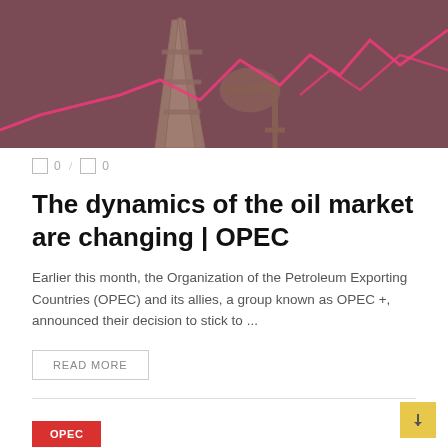[Figure (photo): Hero image showing an oil derrick/rig silhouette against a dark reddish-brown background with a pink zigzag line chart overlaid]
0 / 0
The dynamics of the oil market are changing | OPEC
Earlier this month, the Organization of the Petroleum Exporting Countries (OPEC) and its allies, a group known as OPEC +, announced their decision to stick to ...
READ MORE
OPEC